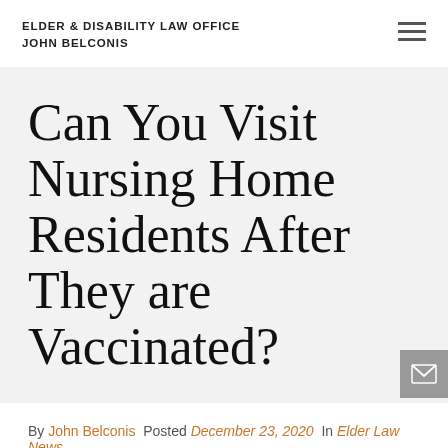Elder & Disability Law Office
John Belconis
Can You Visit Nursing Home Residents After They are Vaccinated?
By John Belconis  Posted December 23, 2020  In Elder Law News